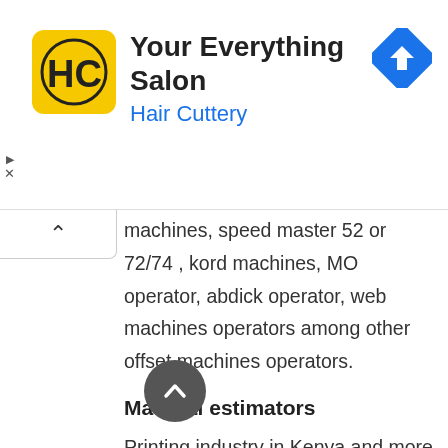[Figure (illustration): Hair Cuttery advertisement banner with HC logo on yellow background, text 'Your Everything Salon' and 'Hair Cuttery' in blue, and a blue direction/navigation diamond icon on the right]
machines, speed master 52 or 72/74 , kord machines, MO operator, abdick operator, web machines operators among other offset machines operators.
Material estimators
Printing industry in Kenya and more so offset printing has employed a number of material estimators in Kenya. The work of estimators as the name says, involving getting the right material and the right quantity for particular